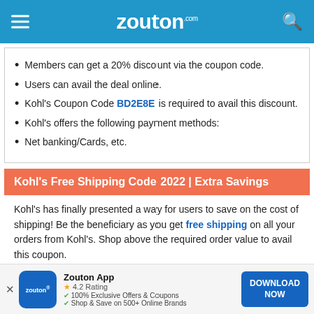zouton.com
Members can get a 20% discount via the coupon code.
Users can avail the deal online.
Kohl's Coupon Code BD2E8E is required to avail this discount.
Kohl's offers the following payment methods:
Net banking/Cards, etc.
Kohl's Free Shipping Code 2022 | Extra Savings
Kohl's has finally presented a way for users to save on the cost of shipping! Be the beneficiary as you get free shipping on all your orders from Kohl's. Shop above the required order value to avail this coupon.
Zouton App 4.2 Rating 100% Exclusive Offers & Coupons Shop & Save on 500+ Online Brands DOWNLOAD NOW